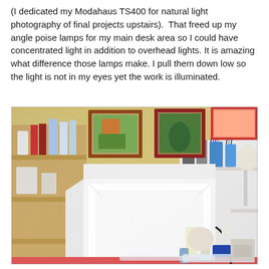(I dedicated my Modahaus TS400 for natural light photography of final projects upstairs).  That freed up my angle poise lamps for my main desk area so I could have concentrated light in addition to overhead lights. It is amazing what difference those lamps make. I pull them down low so the light is not in my eyes yet the work is illuminated.
[Figure (photo): A photo of a craft/hobby workspace showing a white photography light box/tent on a red table, surrounded by shelving units with art supplies, bottles, and tools. Framed artwork hangs on yellow walls in the background.]